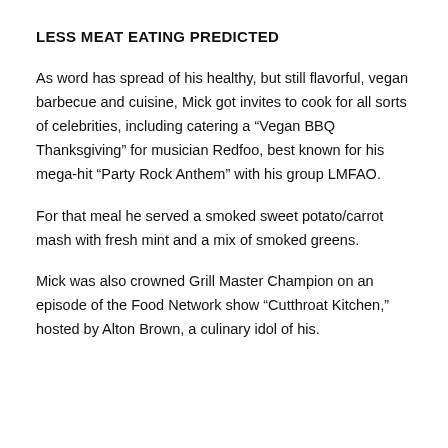LESS MEAT EATING PREDICTED
As word has spread of his healthy, but still flavorful, vegan barbecue and cuisine, Mick got invites to cook for all sorts of celebrities, including catering a “Vegan BBQ Thanksgiving” for musician Redfoo, best known for his mega-hit “Party Rock Anthem” with his group LMFAO.
For that meal he served a smoked sweet potato/carrot mash with fresh mint and a mix of smoked greens.
Mick was also crowned Grill Master Champion on an episode of the Food Network show “Cutthroat Kitchen,” hosted by Alton Brown, a culinary idol of his.